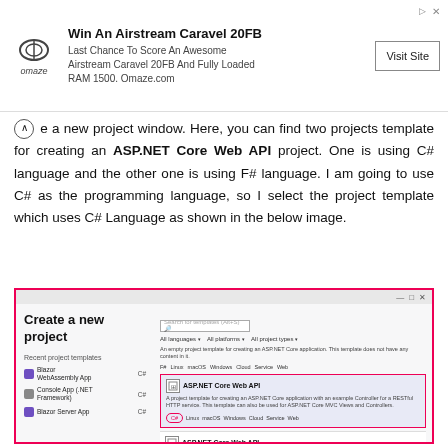[Figure (screenshot): Omaze advertisement banner: 'Win An Airstream Caravel 20FB' with Visit Site button]
e a new project window. Here, you can find two projects template for creating an ASP.NET Core Web API project. One is using C# language and the other one is using F# language. I am going to use C# as the programming language, so I select the project template which uses C# Language as shown in the below image.
[Figure (screenshot): Visual Studio 'Create a new project' dialog showing ASP.NET Core Web API templates with C# selected, highlighted with red border]